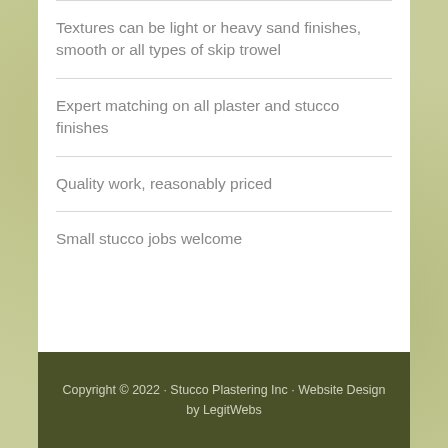Textures can be light or heavy sand finishes, smooth or all types of skip trowel
Expert matching on all plaster and stucco finishes
Quality work, reasonably priced
Small stucco jobs welcome
Copyright © 2022 · Stucco Plastering Inc · Website Design by LegitWebs